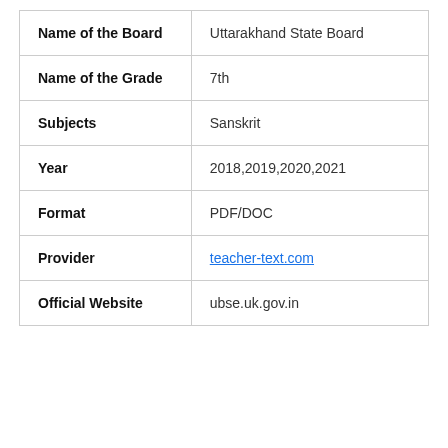|  |  |
| --- | --- |
| Name of the Board | Uttarakhand State Board |
| Name of the Grade | 7th |
| Subjects | Sanskrit |
| Year | 2018,2019,2020,2021 |
| Format | PDF/DOC |
| Provider | teacher-text.com |
| Official Website | ubse.uk.gov.in |